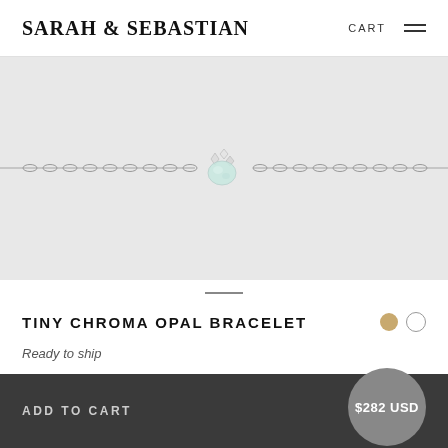SARAH & SEBASTIAN  CART  ☰
[Figure (photo): Silver bracelet with a tiny opal and diamond cluster pendant on a light grey background]
TINY CHROMA OPAL BRACELET
Ready to ship
ADD TO CART  $282 USD